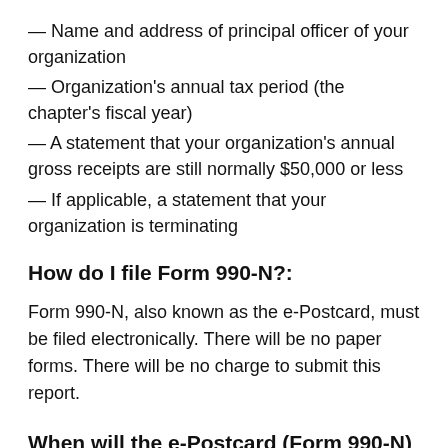— Name and address of principal officer of your organization
— Organization's annual tax period (the chapter's fiscal year)
— A statement that your organization's annual gross receipts are still normally $50,000 or less
— If applicable, a statement that your organization is terminating
How do I file Form 990-N?:
Form 990-N, also known as the e-Postcard, must be filed electronically. There will be no paper forms. There will be no charge to submit this report.
When will the e-Postcard (Form 990-N) be due: